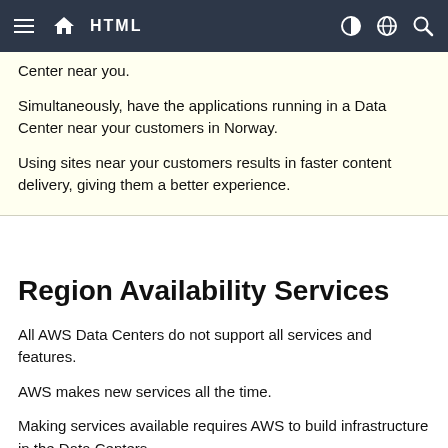HTML
Center near you.
Simultaneously, have the applications running in a Data Center near your customers in Norway.
Using sites near your customers results in faster content delivery, giving them a better experience.
Region Availability Services
All AWS Data Centers do not support all services and features.
AWS makes new services all the time.
Making services available requires AWS to build infrastructure in the Data Centers.